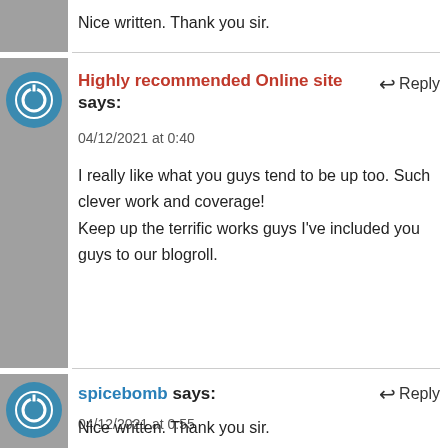Nice written. Thank you sir.
Highly recommended Online site says:
04/12/2021 at 0:40
I really like what you guys tend to be up too. Such clever work and coverage!
Keep up the terrific works guys I've included you guys to our blogroll.
spicebomb says:
04/12/2021 at 0:55
Nice written. Thank you sir.